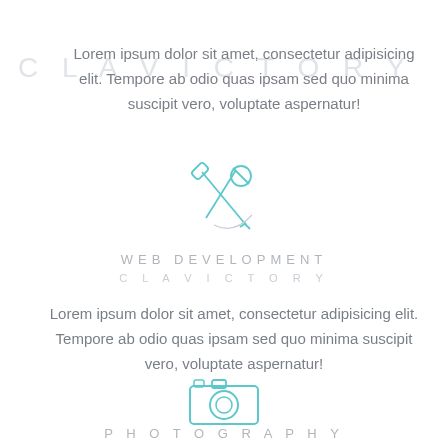Lorem ipsum dolor sit amet, consectetur adipisicing elit. Tempore ab odio quas ipsam sed quo minima suscipit vero, voluptate aspernatur!
[Figure (illustration): Two crossed tools icon (wrench and screwdriver) in cyan/teal outline style, with a partial circle arc]
WEB DEVELOPMENT
CLAVICTORY
Lorem ipsum dolor sit amet, consectetur adipisicing elit. Tempore ab odio quas ipsam sed quo minima suscipit vero, voluptate aspernatur!
[Figure (illustration): Camera icon in cyan/teal outline style]
PHOTOGRAPHY